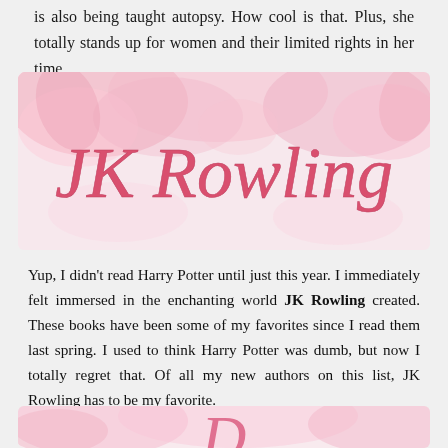is also being taught autopsy. How cool is that. Plus, she totally stands up for women and their limited rights in her time.
[Figure (illustration): Pink watercolor floral background banner with cursive text 'JK Rowling' in coral/pink color]
Yup, I didn't read Harry Potter until just this year. I immediately felt immersed in the enchanting world JK Rowling created. These books have been some of my favorites since I read them last spring. I used to think Harry Potter was dumb, but now I totally regret that. Of all my new authors on this list, JK Rowling has to be my favorite.
[Figure (illustration): Pink watercolor floral background banner with partial cursive text visible at bottom, beginning of next author name]